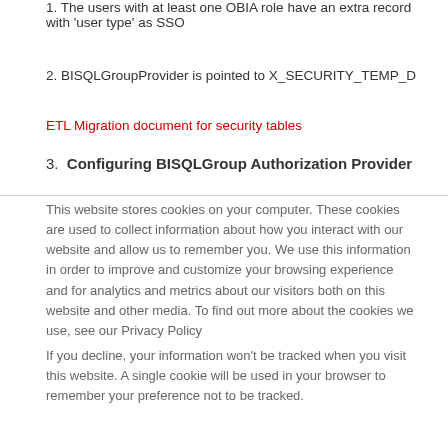1. The users with at least one OBIA role have an extra record with 'user type' as SSO
2. BISQLGroupProvider is pointed to X_SECURITY_TEMP_D
ETL Migration document for security tables
3. Configuring BISQLGroup Authorization Provider
This website stores cookies on your computer. These cookies are used to collect information about how you interact with our website and allow us to remember you. We use this information in order to improve and customize your browsing experience and for analytics and metrics about our visitors both on this website and other media. To find out more about the cookies we use, see our Privacy Policy
If you decline, your information won't be tracked when you visit this website. A single cookie will be used in your browser to remember your preference not to be tracked.